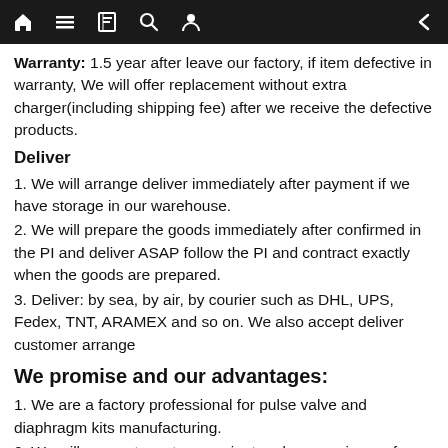navigation bar with home, menu, book, search, user, back icons
Warranty: 1.5 year after leave our factory, if item defective in warranty, We will offer replacement without extra charger(including shipping fee) after we receive the defective products.
Deliver
1. We will arrange deliver immediately after payment if we have storage in our warehouse.
2. We will prepare the goods immediately after confirmed in the PI and deliver ASAP follow the PI and contract exactly when the goods are prepared.
3. Deliver: by sea, by air, by courier such as DHL, UPS, Fedex, TNT, ARAMEX and so on. We also accept deliver customer arrange
We promise and our advantages:
1. We are a factory professional for pulse valve and diaphragm kits manufacturing.
2. We will suggest most convenient and economic way for deliver if you need, we can use our long term cooperation forwarder to service based on your needs.
3. Files for clear will prepare and send to you after goods been delivered, make sure our customers can clear in customs.